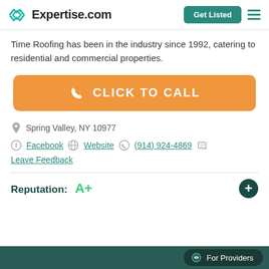Expertise.com | Get Listed
Time Roofing has been in the industry since 1992, catering to residential and commercial properties.
CLICK TO CALL
Spring Valley, NY 10977
Facebook  Website  (914) 924-4869  Leave Feedback
Reputation: A+